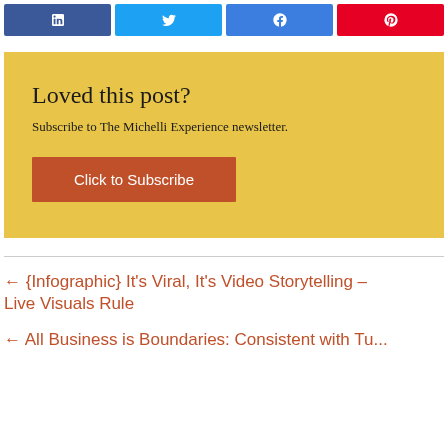[Figure (infographic): Social share buttons row: LinkedIn (dark blue), Twitter (light blue), Facebook (blue), Pinterest (red), each with white icon]
Loved this post?
Subscribe to The Michelli Experience newsletter.
Click to Subscribe
← {Infographic} It's Viral, It's Video Storytelling – Live Visuals Rule
← All Business is Boundaries: Consistent with Tu...